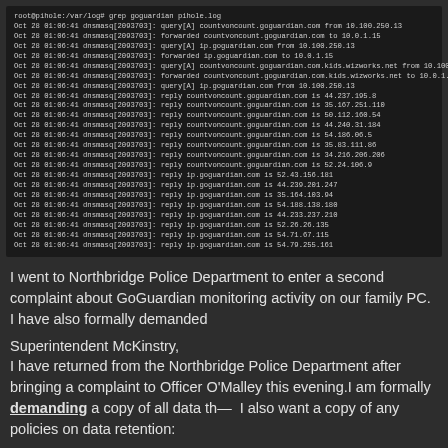[Figure (screenshot): Terminal output showing grep command for goguardian in pihole.log, listing dnsmasq DNS query and reply entries for goguardian.com and related domains from IP 10.100.250.13 to 10.0.1.15, with multiple IP addresses returned.]
I went to Northbridge Police Department to enter a second complaint about GoGuardian monitoring activity on our family PC. I have also formally demanded
Superintendent McKinstry,
I have returned from the Northbridge Police Department after bringing a complaint to Officer O'Malley this evening.I am formally demanding a copy of all data th- I also want a copy of any policies on data retention:
where this data resides (both within NPS and within GoGuardian)
who has access to it